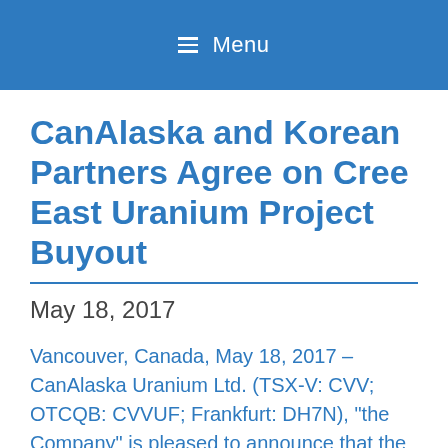Menu
CanAlaska and Korean Partners Agree on Cree East Uranium Project Buyout
May 18, 2017
Vancouver, Canada, May 18, 2017 – CanAlaska Uranium Ltd. (TSX-V: CVV; OTCQB: CVVUF; Frankfurt: DH7N), “the Company” is pleased to announce that the